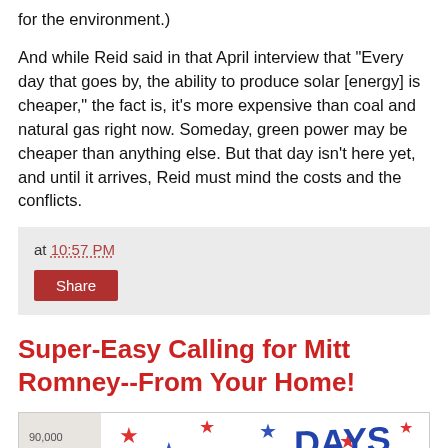for the environment.)
And while Reid said in that April interview that "Every day that goes by, the ability to produce solar [energy] is cheaper," the fact is, it's more expensive than coal and natural gas right now. Someday, green power may be cheaper than anything else. But that day isn't here yet, and until it arrives, Reid must mind the costs and the conflicts.
at 10:57 PM
Share
Super-Easy Calling for Mitt Romney--From Your Home!
[Figure (photo): Partial photo of a handmade sign or poster showing the words 'Countdown to Victory' with stars, in red, white, and blue colors. Numbers like 90,000 and 75,000 are partially visible on the left side. A date 'July 2' is partially visible at the bottom.]